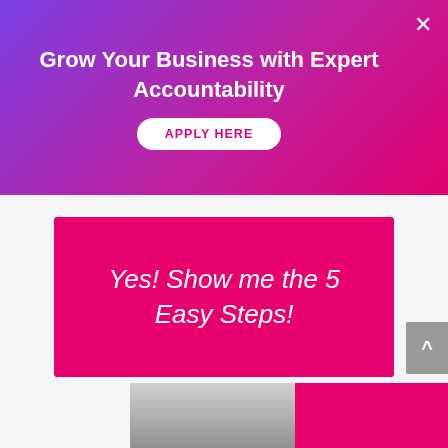Grow Your Business with Expert Accountability
APPLY HERE
Yes! Show me the 5 Easy Steps!
[Figure (photo): Bottom strip showing a partial photo of a person on the left and a magenta/pink block on the right]